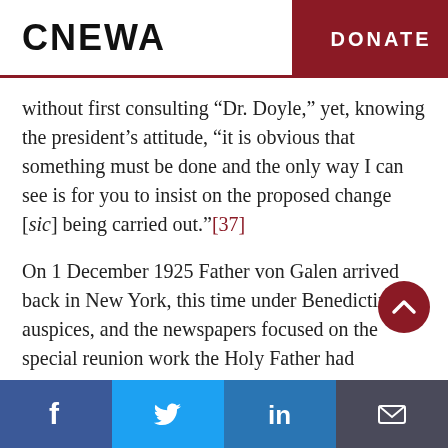CNEWA   DONATE
without first consulting “Dr. Doyle,” yet, knowing the president’s attitude, “it is obvious that something must be done and the only way I can see is for you to insist on the proposed change [sic] being carried out.”[37]
On 1 December 1925 Father von Galen arrived back in New York, this time under Benedictine auspices, and the newspapers focused on the special reunion work the Holy Father had entrusted to the Catholic Union and to the Order